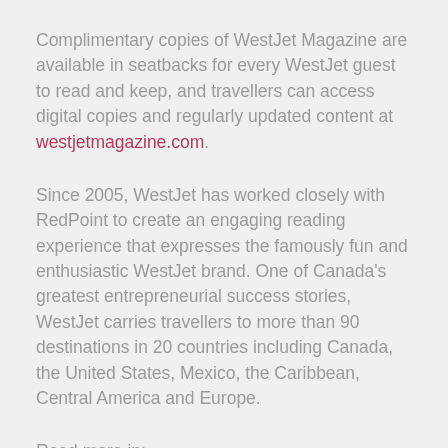Complimentary copies of WestJet Magazine are available in seatbacks for every WestJet guest to read and keep, and travellers can access digital copies and regularly updated content at westjetmagazine.com.
Since 2005, WestJet has worked closely with RedPoint to create an engaging reading experience that expresses the famously fun and enthusiastic WestJet brand. One of Canada's greatest entrepreneurial success stories, WestJet carries travellers to more than 90 destinations in 20 countries including Canada, the United States, Mexico, the Caribbean, Central America and Europe.
Read more in: